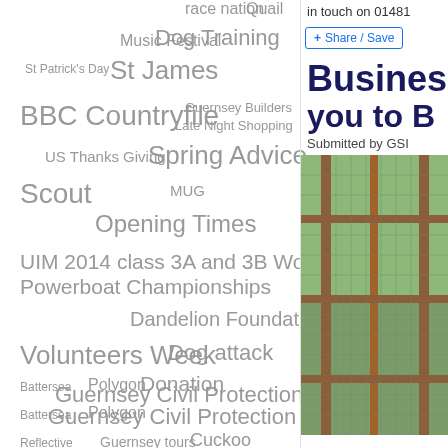[Figure (infographic): Tag cloud with various topics including BBC Countryfile, UIM 2014 class 3A and 3B World Powerboat Championships, Guernsey Civil Protection, Volunteers Week, Opening Times, Spring Advice, Dog Training, etc.]
in touch on 01481
+ Share / Save
Busines
you to B
Submitted by GSI
[Figure (photo): Photo of a wooden-framed wire mesh structure, possibly a garden cage or aviary, with green foliage visible in the background.]